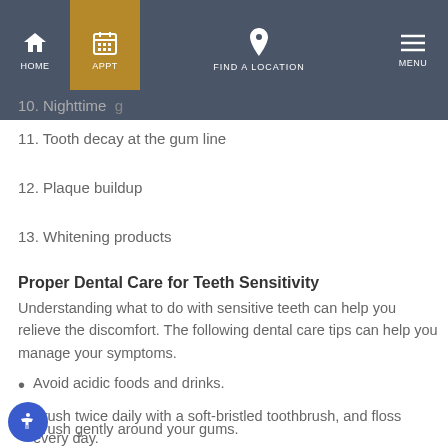HOME | APPT | FIND A LOCATION | MENU
10. Nighttime [partial, obscured by nav]
11. Tooth decay at the gum line
12. Plaque buildup
13. Whitening products
Proper Dental Care for Teeth Sensitivity
Understanding what to do with sensitive teeth can help you relieve the discomfort. The following dental care tips can help you manage your symptoms.
Avoid acidic foods and drinks.
Brush twice daily with a soft-bristled toothbrush, and floss every day.
Brush gently around your gums.